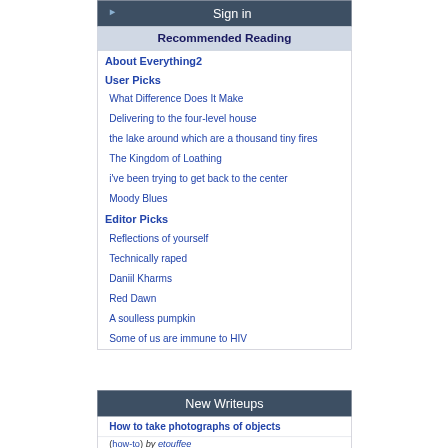Sign in
Recommended Reading
About Everything2
User Picks
What Difference Does It Make
Delivering to the four-level house
the lake around which are a thousand tiny fires
The Kingdom of Loathing
i've been trying to get back to the center
Moody Blues
Editor Picks
Reflections of yourself
Technically raped
Daniil Kharms
Red Dawn
A soulless pumpkin
Some of us are immune to HIV
New Writeups
How to take photographs of objects (how-to) by etouffee
The Kingdom of Loathing